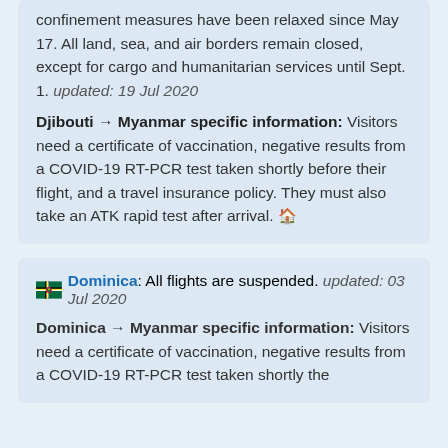confinement measures have been relaxed since May 17. All land, sea, and air borders remain closed, except for cargo and humanitarian services until Sept. 1. updated: 19 Jul 2020
Djibouti → Myanmar specific information: Visitors need a certificate of vaccination, negative results from a COVID-19 RT-PCR test taken shortly before their flight, and a travel insurance policy. They must also take an ATK rapid test after arrival.
Dominica: All flights are suspended. updated: 03 Jul 2020
Dominica → Myanmar specific information: Visitors need a certificate of vaccination, negative results from a COVID-19 RT-PCR test taken shortly the